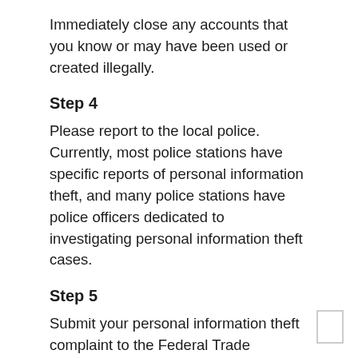Immediately close any accounts that you know or may have been used or created illegally.
Step 4
Please report to the local police. Currently, most police stations have specific reports of personal information theft, and many police stations have police officers dedicated to investigating personal information theft cases.
Step 5
Submit your personal information theft complaint to the Federal Trade Commission online or call 1-877-438-4338 (TTY 1-866-653-4261).
And now exchange your social security